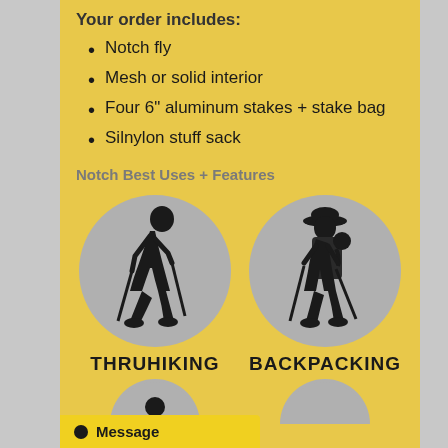Your order includes:
Notch fly
Mesh or solid interior
Four 6" aluminum stakes + stake bag
Silnylon stuff sack
Notch Best Uses + Features
[Figure (infographic): Two circular icons on grey background: left circle shows a thruhiker silhouette with hiking poles, labeled THRUHIKING; right circle shows a backpacker silhouette with large pack and poles, labeled BACKPACKING]
Message